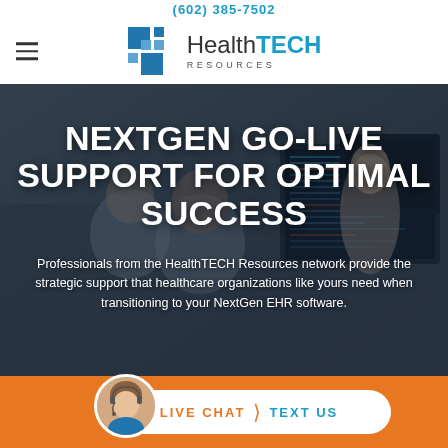(602) 385-7502
[Figure (logo): HealthTECH Resources logo with blue grid icon and company name]
[Figure (photo): Healthcare professionals working at computers with multiple monitors]
NEXTGEN GO-LIVE SUPPORT FOR OPTIMAL SUCCESS
Professionals from the HealthTECH Resources network provide the strategic support that healthcare organizations like yours need when transitioning to your NextGen EHR software.
[Figure (photo): Headshot of female customer service representative with headset]
LIVE CHAT  TEXT US